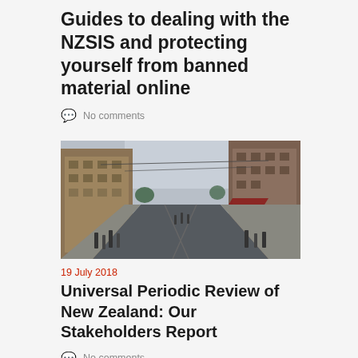Guides to dealing with the NZSIS and protecting yourself from banned material online
No comments
[Figure (photo): Street scene showing a busy European city street with tall buildings on both sides, pedestrians walking, and tram tracks on the road under a cloudy sky.]
19 July 2018
Universal Periodic Review of New Zealand: Our Stakeholders Report
No comments